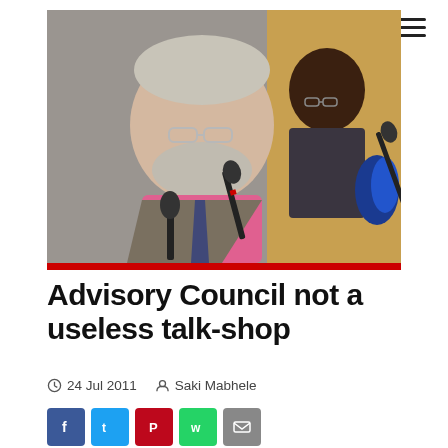[Figure (photo): Two men at a conference table with microphones; foreground shows a white-haired man with glasses and a grey beard wearing a pink shirt and tie; background shows an African man in a dark suit also wearing glasses.]
Advisory Council not a useless talk-shop
24 Jul 2011   Saki Mabhele